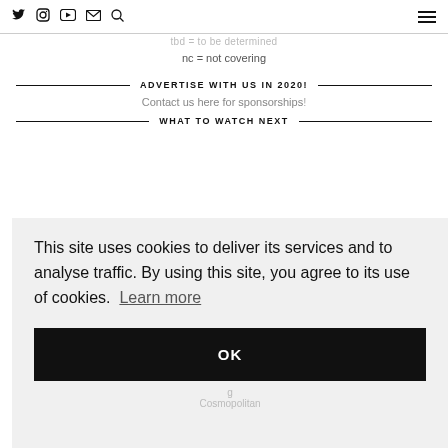Twitter Instagram YouTube Email Search | Menu
tbd = to be determined
nc = not covering
ADVERTISE WITH US IN 2020!
Contact us here for sponsorships!
WHAT TO WATCH NEXT
This site uses cookies to deliver its services and to analyse traffic. By using this site, you agree to its use of cookies. Learn more
OK